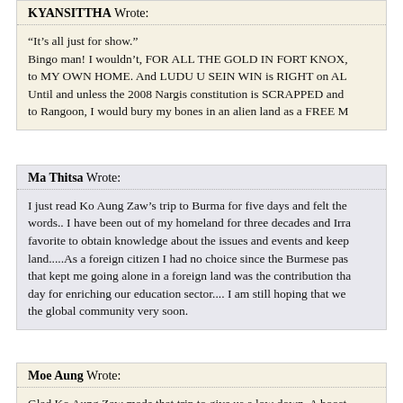KYANSITTHA Wrote: “It’s all just for show.” Bingo man! I wouldn’t, FOR ALL THE GOLD IN FORT KNOX, to MY OWN HOME. And LUDU U SEIN WIN is RIGHT on AL Until and unless the 2008 Nargis constitution is SCRAPPED and to Rangoon, I would bury my bones in an alien land as a FREE M
Ma Thitsa Wrote: I just read Ko Aung Zaw’s trip to Burma for five days and felt the words.. I have been out of my homeland for three decades and Irra favorite to obtain knowledge about the issues and events and keep land.....As a foreign citizen I had no choice since the Burmese pas that kept me going alone in a foreign land was the contribution tha day for enriching our education sector.... I am still hoping that we the global community very soon.
Moe Aung Wrote: Glad Ko Aung Zaw made that trip to give us a low down. A boost even if it was only five days must do him good. And Ludu U Sein The Irrawaddy has earned its place in history and in Burmese h